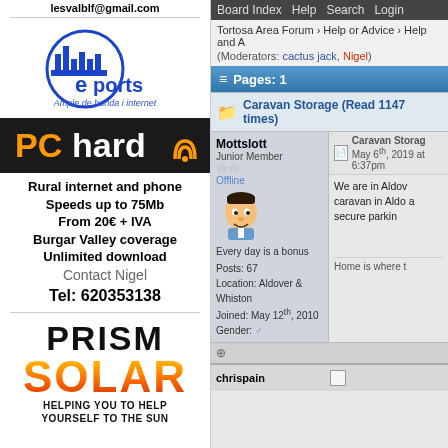lesvalblf@gmail.com
[Figure (logo): Eports logo - blue circular city skyline with blue 'e' and 'ports' text, Ample de banda i internet subtitle]
[Figure (logo): PChard logo with wifi symbol on dark background]
Rural internet and phone
Speeds up to 75Mb
From 20€ + IVA
Burgar Valley coverage
Unlimited download
Contact Nigel
Tel: 620353138
[Figure (logo): PRISM SOLAR logo - PRISM in black, SOLAR in orange/red gradient, HELPING YOU TO HELP YOURSELF TO THE SUN]
Board Index  Help  Search  Login
Tortosa Area Forum › Help or Advice › Help and A
(Moderators: cactus jack, Nigel)
Pages: 1
Caravan Storage (Read 1147 times)
Mottslott
Junior Member
Offline
Every day is a bonus
Posts: 67
Location: Aldover & Whiston
Joined: May 12th, 2010
Gender: Male
Caravan Storage
May 6th, 2019 at 6:37pm
We are in Aldover caravan in Aldo a secure parkin
Home is where t
chrispain